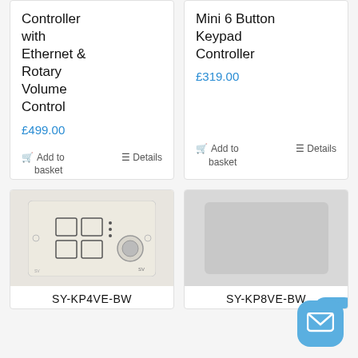Controller with Ethernet & Rotary Volume Control
£499.00
Add to basket   Details
Mini 6 Button Keypad Controller
£319.00
Add to basket   Details
[Figure (photo): SY-KP4VE-BW keypad panel with 4 square buttons and a rotary dial, cream/white finish, with 'sv' branding]
SY-KP4VE-BW
[Figure (photo): SY-KP8VE-BW keypad panel, light grey, blank/plain front]
SY-KP8VE-BW